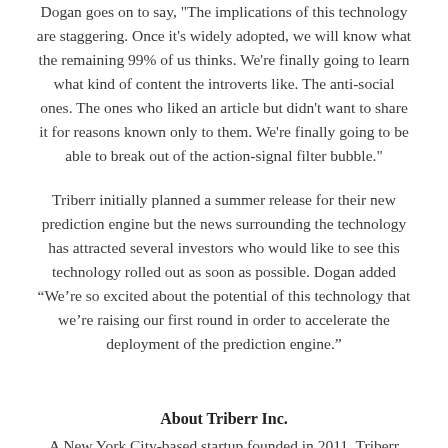Dogan goes on to say, "The implications of this technology are staggering. Once it's widely adopted, we will know what the remaining 99% of us thinks. We're finally going to learn what kind of content the introverts like. The anti-social ones. The ones who liked an article but didn't want to share it for reasons known only to them. We're finally going to be able to break out of the action-signal filter bubble."
Triberr initially planned a summer release for their new prediction engine but the news surrounding the technology has attracted several investors who would like to see this technology rolled out as soon as possible. Dogan added “We’re so excited about the potential of this technology that we’re raising our first round in order to accelerate the deployment of the prediction engine.”
About Triberr Inc.
A New York City-based startup founded in 2011, Triberr Inc.